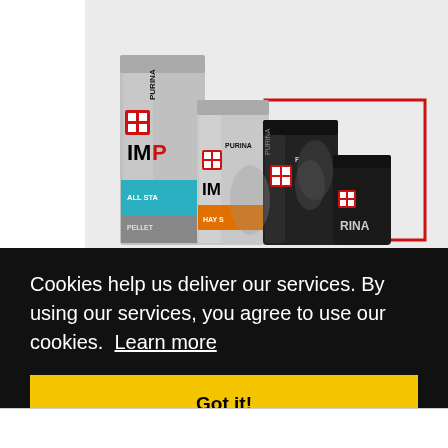[Figure (photo): Purina horse feed product bags arranged in a row on a light gray background, with a red 'PERFORMS' title at the top. Multiple Purina brand bags visible including Impact All Stages Pelleted and Purina Hay products in silver, teal, and black packaging.]
Cookies help us deliver our services. By using our services, you agree to use our cookies. Learn more
Got it!